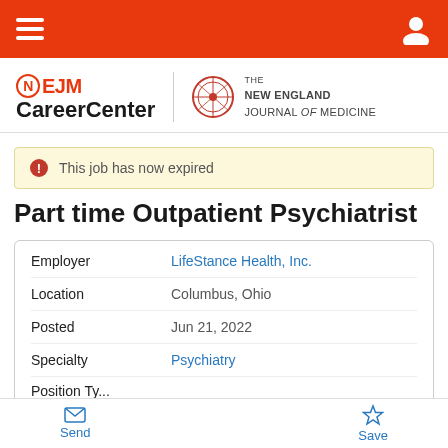NEJM CareerCenter
[Figure (logo): NEJM CareerCenter logo with N in circle and The New England Journal of Medicine seal]
This job has now expired
Part time Outpatient Psychiatrist
| Field | Value |
| --- | --- |
| Employer | LifeStance Health, Inc. |
| Location | Columbus, Ohio |
| Posted | Jun 21, 2022 |
| Specialty | Psychiatry |
| Position Type |  |
Send  Save